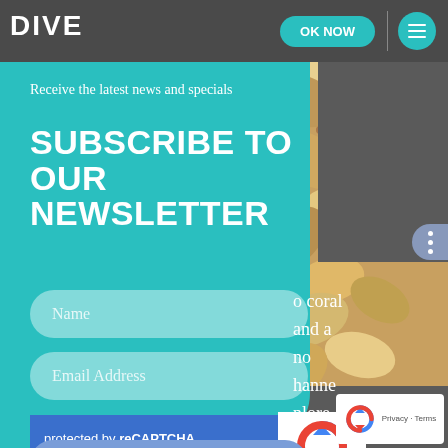DIVE | OK NOW | Menu
Receive the latest news and specials
SUBSCRIBE TO OUR NEWSLETTER
Name
Email Address
protected by reCAPTCHA
Privacy · Terms
[Figure (logo): reCAPTCHA logo — circular arrows icon in blue]
SUBSCRIBE
o coral
and a
no
hanne
plore,
overed in
[Figure (logo): Small reCAPTCHA logo with Privacy · Terms text]